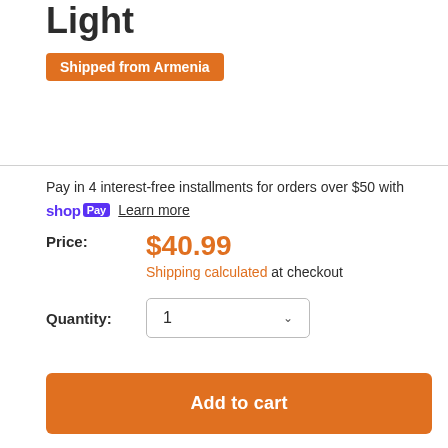Light
Shipped from Armenia
Pay in 4 interest-free installments for orders over $50 with shop Pay Learn more
Price: $40.99 Shipping calculated at checkout
Quantity: 1
Add to cart